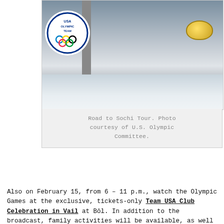[Figure (photo): Photo of curling ice rink with a yellow curling stone and a U.S. Olympic Team logo visible on a surface. Road to Sochi Tour photo.]
Road to Sochi Tour. Photo courtesy of U.S. Olympic Committee.
Also on February 15, from 6 – 11 p.m., watch the Olympic Games at the exclusive, tickets-only Team USA Club Celebration in Vail at Bōl. In addition to the broadcast, family activities will be available, as well as the opportunity to mingle, bowl and even skate with Olympic and Paralympic athletes.
Game on!